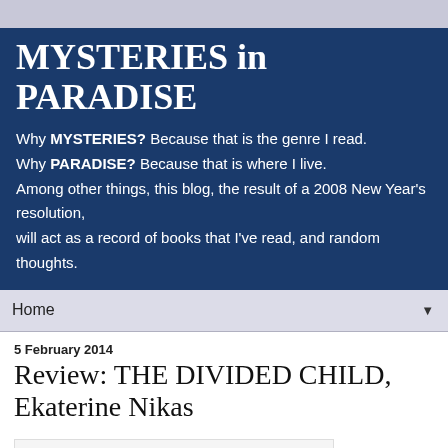MYSTERIES in PARADISE
Why MYSTERIES? Because that is the genre I read.
Why PARADISE? Because that is where I live.
Among other things, this blog, the result of a 2008 New Year's resolution,
will act as a record of books that I've read, and random thoughts.
Home
5 February 2014
Review: THE DIVIDED CHILD, Ekaterine Nikas
[Figure (photo): Book cover image for THE DIVIDED CHILD with 'Click to LOOK INSIDE!' label and orange arrow, showing the word 'THE' in gold text on a blue background.]